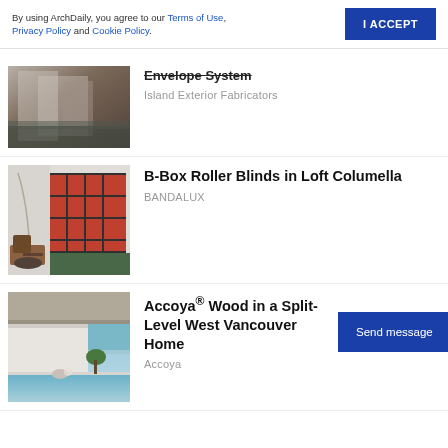By using ArchDaily, you agree to our Terms of Use, Privacy Policy and Cookie Policy.
I ACCEPT
[Figure (photo): Architectural building with metallic/silver exterior facade, urban scene]
Envelope System
Island Exterior Fabricators
[Figure (photo): Interior loft space with orange/red roller blinds covering large windows, modern furniture]
B-Box Roller Blinds in Loft Columella
BANDALUX
[Figure (photo): Modern split-level home exterior with pool, ocean view, West Vancouver]
Accoya® Wood in a Split-Level West Vancouver Home
Accoya
Send message